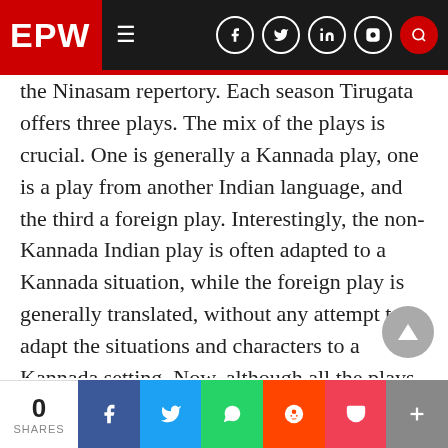EPW — Economic & Political Weekly navigation bar
the Ninasam repertory. Each season Tirugata offers three plays. The mix of the plays is crucial. One is generally a Kannada play, one is a play from another Indian language, and the third a foreign play. Interestingly, the non-Kannada Indian play is often adapted to a Kannada situation, while the foreign play is generally translated, without any attempt to adapt the situations and characters to a Kannada setting. Now, although all the plays are performed in Kannada, there is, I would argue, a certain sort of multilingual practice that Ninasam engages in. At the very least, Ninasam ends up training people to translate from various
0 SHARES | social share buttons: Facebook, Twitter, WhatsApp, Reddit, Pocket, Plus